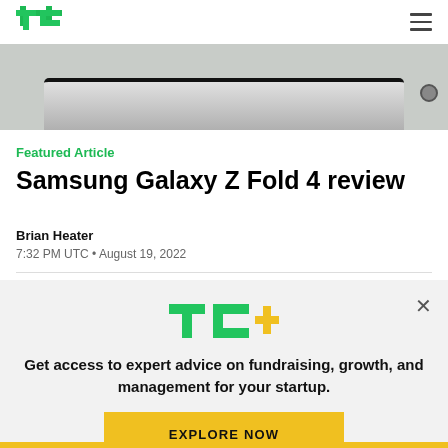TechCrunch
[Figure (photo): Bottom edge of a Samsung Galaxy Z Fold 4 smartphone on a light surface, showing the device from above]
Featured Article
Samsung Galaxy Z Fold 4 review
Brian Heater
7:32 PM UTC • August 19, 2022
[Figure (logo): TC+ logo in green and yellow]
Get access to expert advice on fundraising, growth, and management for your startup.
EXPLORE NOW